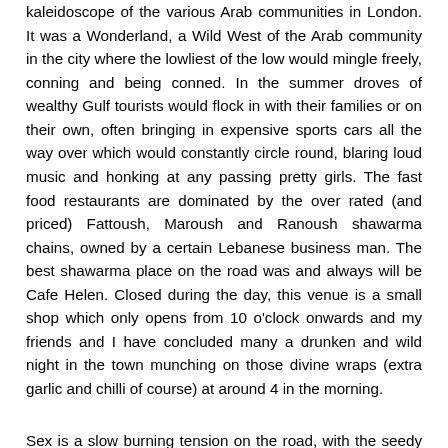kaleidoscope of the various Arab communities in London. It was a Wonderland, a Wild West of the Arab community in the city where the lowliest of the low would mingle freely, conning and being conned. In the summer droves of wealthy Gulf tourists would flock in with their families or on their own, often bringing in expensive sports cars all the way over which would constantly circle round, blaring loud music and honking at any passing pretty girls. The fast food restaurants are dominated by the over rated (and priced) Fattoush, Maroush and Ranoush shawarma chains, owned by a certain Lebanese business man. The best shawarma place on the road was and always will be Cafe Helen. Closed during the day, this venue is a small shop which only opens from 10 o'clock onwards and my friends and I have concluded many a drunken and wild night in the town munching on those divine wraps (extra garlic and chilli of course) at around 4 in the morning.
Sex is a slow burning tension on the road, with the seedy underbelly of London just about visible under the veneer of respectability the surrounding buildings cloak themselves